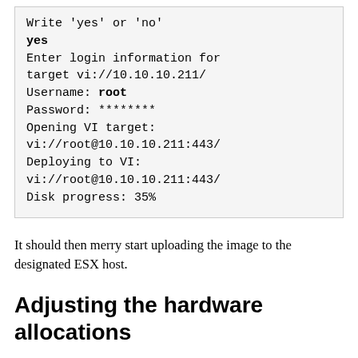Write 'yes' or 'no'
yes
Enter login information for target vi://10.10.10.211/
Username: root
Password: ********
Opening VI target:
vi://root@10.10.10.211:443/
Deploying to VI:
vi://root@10.10.10.211:443/
Disk progress: 35%
It should then merry start uploading the image to the designated ESX host.
Adjusting the hardware allocations
You will need to change some settings about the virtual...